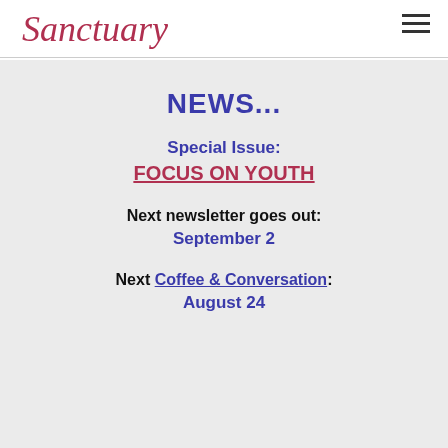Sanctuary
NEWS...
Special Issue:
FOCUS ON YOUTH
Next newsletter goes out:
September 2
Next Coffee & Conversation:
August 24